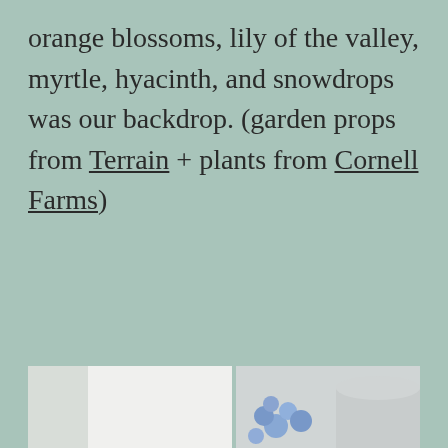orange blossoms, lily of the valley, myrtle, hyacinth, and snowdrops was our backdrop. (garden props from Terrain + plants from Cornell Farms)
[Figure (photo): Left photo: A young blonde woman wearing a green gingham skirt and white top sitting at an outdoor garden dining table set with plates, glasses, and small decorations. White folding chairs visible.]
[Figure (photo): Right photo: Close-up of sandwiches wrapped in white paper/cloth sitting in a wooden bamboo tray with a green handle, with blue hyacinth flowers visible in the lower right corner.]
[Figure (photo): Bottom partial photo: Partially visible photo at the bottom of the page showing a jar or bottle.]